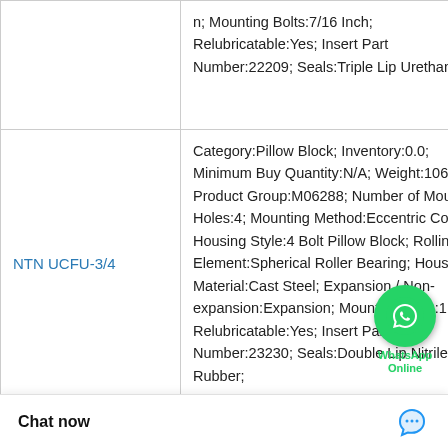| Part | Description |
| --- | --- |
|  | n; Mounting Bolts:7/16 Inch; Relubricatable:Yes; Insert Part Number:22209; Seals:Triple Lip Urethane; |
| NTN UCFU-3/4 | Category:Pillow Block; Inventory:0.0; Minimum Buy Quantity:N/A; Weight:106.69; Product Group:M06288; Number of Mounting Holes:4; Mounting Method:Eccentric Collar; Housing Style:4 Bolt Pillow Block; Rolling Element:Spherical Roller Bearing; Housing Material:Cast Steel; Expansion / Non-expansion:Expansion; Mounting Bolts:1 Inch; Relubricatable:Yes; Insert Part Number:23230; Seals:Double Lip Nitrile Rubber; |
|  | Bearing number:N 306; Size (mm):30x72x19; Bore Diameter (mm):30; Outer Diameter (mm):72; Width:30 mm; D:72 m |
Chat now